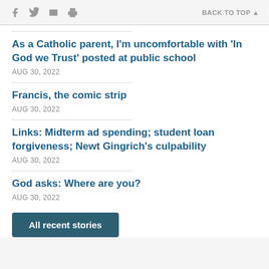f [twitter] [print] [email]   BACK TO TOP ▲
As a Catholic parent, I'm uncomfortable with 'In God we Trust' posted at public school
AUG 30, 2022
Francis, the comic strip
AUG 30, 2022
Links: Midterm ad spending; student loan forgiveness; Newt Gingrich's culpability
AUG 30, 2022
God asks: Where are you?
AUG 30, 2022
All recent stories